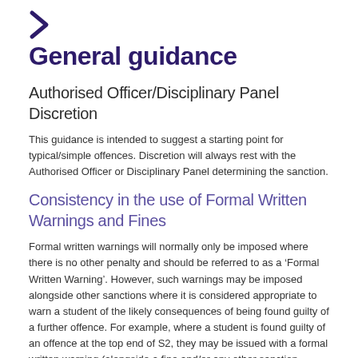[Figure (logo): Purple arrow/chevron icon pointing right]
General guidance
Authorised Officer/Disciplinary Panel Discretion
This guidance is intended to suggest a starting point for typical/simple offences. Discretion will always rest with the Authorised Officer or Disciplinary Panel determining the sanction.
Consistency in the use of Formal Written Warnings and Fines
Formal written warnings will normally only be imposed where there is no other penalty and should be referred to as a ‘Formal Written Warning’. However, such warnings may be imposed alongside other sanctions where it is considered appropriate to warn a student of the likely consequences of being found guilty of a further offence. For example, where a student is found guilty of an offence at the top end of S2, they may be issued with a formal written warning (alongside a fine and/or any other sanction imposed) that if they are found guilty of a further, similar offence it is likely that it will be dealt with at s3 level, noting that